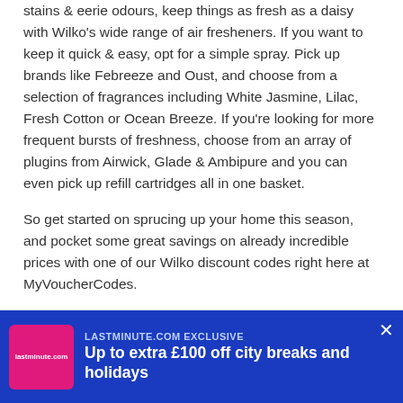stains & eerie odours, keep things as fresh as a daisy with Wilko's wide range of air fresheners. If you want to keep it quick & easy, opt for a simple spray. Pick up brands like Febreeze and Oust, and choose from a selection of fragrances including White Jasmine, Lilac, Fresh Cotton or Ocean Breeze. If you're looking for more frequent bursts of freshness, choose from an array of plugins from Airwick, Glade & Ambipure and you can even pick up refill cartridges all in one basket.
So get started on sprucing up your home this season, and pocket some great savings on already incredible prices with one of our Wilko discount codes right here at MyVoucherCodes.
Wall-To-Wall Savings On Wallpaper
[Figure (other): Advertisement banner for lastminute.com showing 'LASTMINUTE.COM EXCLUSIVE - Up to extra £100 off city breaks and holidays' with pink logo and blue background]